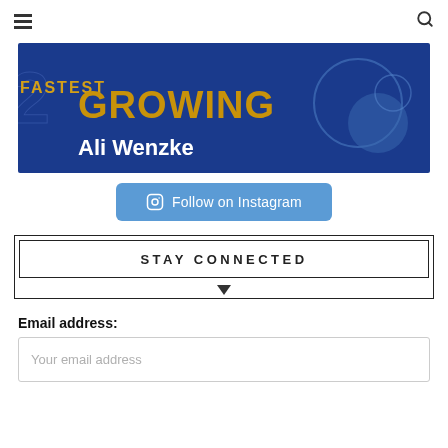≡ [menu] [search]
[Figure (illustration): Banner image with dark blue background showing 'GROWING' in gold text and 'Ali Wenzke' in white bold text, with decorative circles and partial number '2' on the left side.]
Follow on Instagram
STAY CONNECTED
Email address:
Your email address